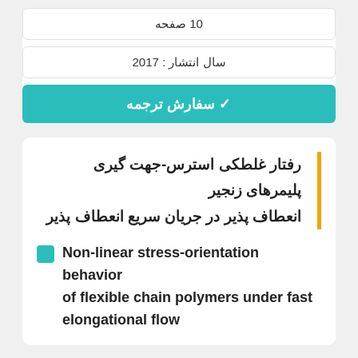10 صفحه
سال انتشار : 2017
✔ سفارش ترجمه
رفتار غلطکی استرس-جهت گیری پلیمرهای زنجیر انعطاف پذیر در جریان سریع انعطاف پذیر
Non-linear stress-orientation behavior of flexible chain polymers under fast elongational flow